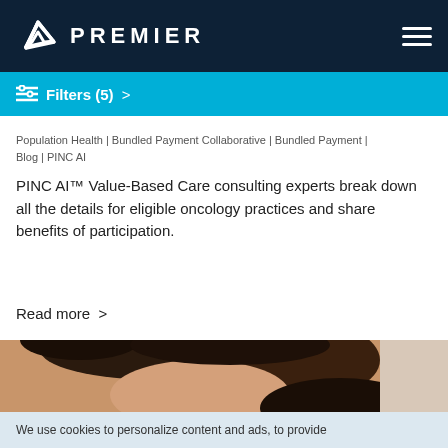PREMIER
Filters (5) >
Population Health | Bundled Payment Collaborative | Bundled Payment | Blog | PINC AI
PINC AI™ Value-Based Care consulting experts break down all the details for eligible oncology practices and share benefits of participation.
Read more >
[Figure (photo): Close-up photo of an adult looking down at a young child with curly hair, warm tones]
We use cookies to personalize content and ads, to provide